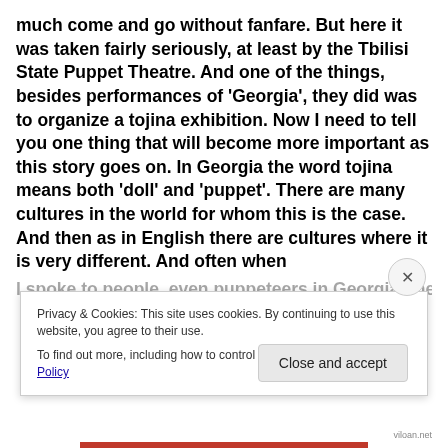much come and go without fanfare. But here it was taken fairly seriously, at least by the Tbilisi State Puppet Theatre. And one of the things, besides performances of 'Georgia', they did was to organize a tojina exhibition. Now I need to tell you one thing that will become more important as this story goes on. In Georgia the word tojina means both 'doll' and 'puppet'. There are many cultures in the world for whom this is the case. And then as in English there are cultures where it is very different. And often when I spoke to people, even puppeteers in Georgia, they
Privacy & Cookies: This site uses cookies. By continuing to use this website, you agree to their use.
To find out more, including how to control cookies, see here: Cookie Policy